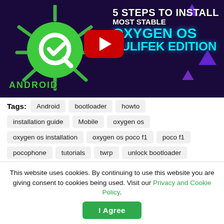[Figure (screenshot): YouTube video thumbnail showing Android Q logo on left, YouTube play button in center, and text overlay '5 STEPS TO INSTALL MOST STABLE OXYGEN OS HULIFEK EDITION' on dark purple background with purple triangles]
Tags: Android bootloader howto installation guide Mobile oxygen os oxygen os installation oxygen os poco f1 poco f1 pocophone tutorials twrp unlock bootloader videos
This website uses cookies. By continuing to use this website you are giving consent to cookies being used. Visit our Privacy and Cookie Policy.